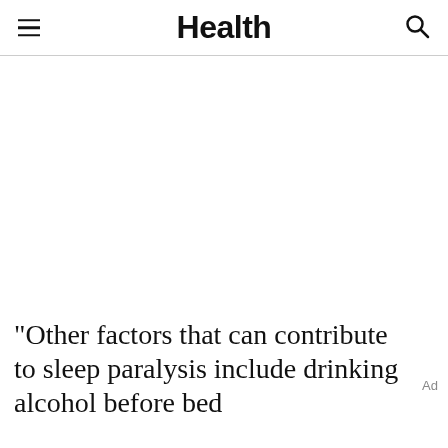Health
"Other factors that can contribute to sleep paralysis include drinking alcohol before bed